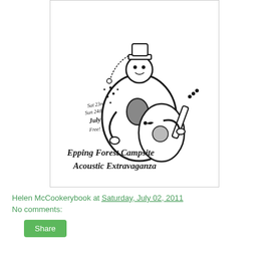[Figure (illustration): Hand-drawn ink illustration of a cartoon figure playing an acoustic guitar. The figure has an oval/egg-shaped body with a hole like a guitar soundhole, arms strumming a guitar, and small decorative details. Handwritten text reads: 'Sat 23rd, Sun 24th, July, Free!' and 'Epping Forest Campsite Acoustic Extravaganza'.]
Helen McCookerybook at Saturday, July 02, 2011
No comments:
Share